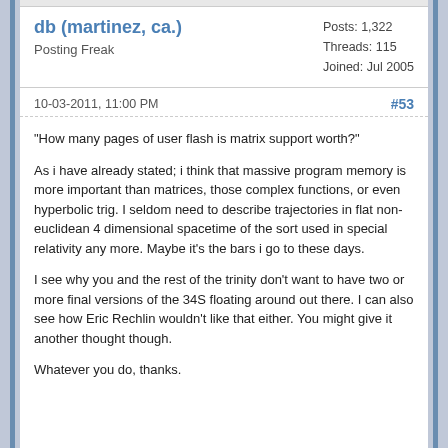db (martinez, ca.) — Posting Freak | Posts: 1,322 | Threads: 115 | Joined: Jul 2005
10-03-2011, 11:00 PM  #53
"How many pages of user flash is matrix support worth?"

As i have already stated; i think that massive program memory is more important than matrices, those complex functions, or even hyperbolic trig. I seldom need to describe trajectories in flat non-euclidean 4 dimensional spacetime of the sort used in special relativity any more. Maybe it's the bars i go to these days.

I see why you and the rest of the trinity don't want to have two or more final versions of the 34S floating around out there. I can also see how Eric Rechlin wouldn't like that either. You might give it another thought though.

Whatever you do, thanks.